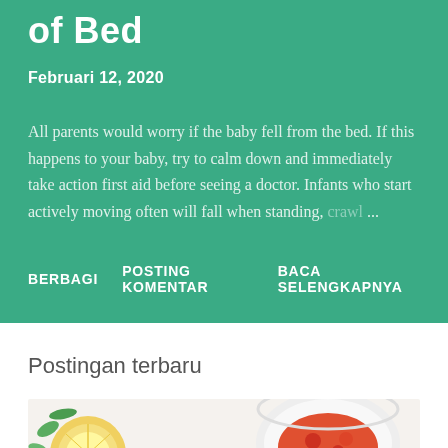of Bed
Februari 12, 2020
All parents would worry if the baby fell from the bed. If this happens to your baby, try to calm down and immediately take action first aid before seeing a doctor. Infants who start actively moving often will fall when standing, crawl ...
BERBAGI   POSTING KOMENTAR   BACA SELENGKAPNYA
Postingan terbaru
[Figure (photo): Food image showing lemons, herbs/greens, and a white bowl with red sauce or salsa, seen from above on a light background]